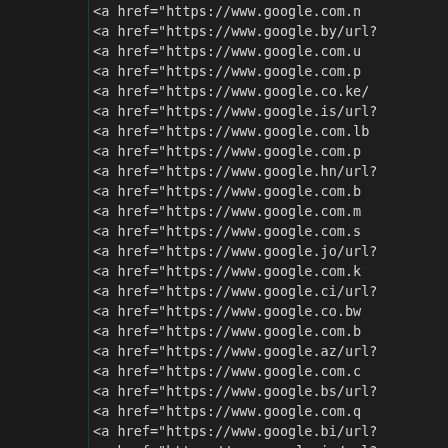<a href="https://www.google.com.n
<a href="https://www.google.by/url?
<a href="https://www.google.com.u
<a href="https://www.google.com.p
<a href="https://www.google.co.ke/
<a href="https://www.google.is/url?
<a href="https://www.google.com.lb
<a href="https://www.google.com.p
<a href="https://www.google.hn/url?
<a href="https://www.google.com.b
<a href="https://www.google.com.m
<a href="https://www.google.com.s
<a href="https://www.google.jo/url?
<a href="https://www.google.com.k
<a href="https://www.google.ci/url?
<a href="https://www.google.co.bw
<a href="https://www.google.com.b
<a href="https://www.google.az/url?
<a href="https://www.google.com.c
<a href="https://www.google.bs/url?
<a href="https://www.google.com.q
<a href="https://www.google.bi/url?
<a href="https://www.google.iq/url?
<a href="https://www.google.md/url
<a href="https://www.google.je/url?